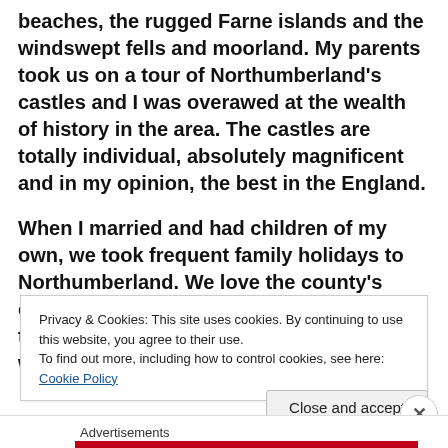beaches, the rugged Farne islands and the windswept fells and moorland.  My parents took us on a tour of Northumberland's castles and I was overawed at the wealth of history in the area. The castles are totally individual, absolutely magnificent and in my opinion, the best in the England.
When I married and had children of my own, we took frequent family holidays to Northumberland.  We love the county's open space, its uncongested roads and that vast expanse of ice-blue northern sky which
Privacy & Cookies: This site uses cookies. By continuing to use this website, you agree to their use.
To find out more, including how to control cookies, see here: Cookie Policy
Close and accept
Advertisements